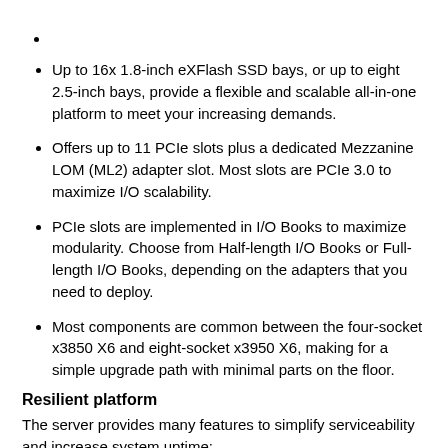Up to 16x 1.8-inch eXFlash SSD bays, or up to eight 2.5-inch bays, provide a flexible and scalable all-in-one platform to meet your increasing demands.
Offers up to 11 PCIe slots plus a dedicated Mezzanine LOM (ML2) adapter slot. Most slots are PCIe 3.0 to maximize I/O scalability.
PCIe slots are implemented in I/O Books to maximize modularity. Choose from Half-length I/O Books or Full-length I/O Books, depending on the adapters that you need to deploy.
Most components are common between the four-socket x3850 X6 and eight-socket x3950 X6, making for a simple upgrade path with minimal parts on the floor.
Resilient platform
The server provides many features to simplify serviceability and increase system uptime:
Upward Integration Modules for standard hypervisors enable the creation and management of policies to maintain high availability of virtual machines and concurrent updating of the system firmware, with no…